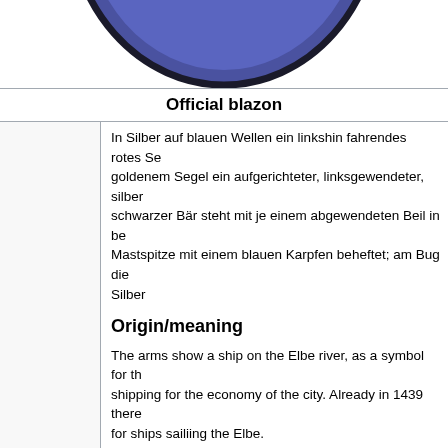[Figure (illustration): Partial view of a heraldic coat of arms showing a blue/purple circular shield with dark border, cropped at top of page]
Official blazon
In Silber auf blauen Wellen ein linkshin fahrendes rotes Se... goldenem Segel ein aufgerichteter, linksgewendeter, silber... schwarzer Bär steht mit je einem abgewendeten Beil in be... Mastspitze mit einem blauen Karpfen beheftet; am Bug die... Silber
Origin/meaning
The arms show a ship on the Elbe river, as a symbol for th... shipping for the economy of the city. Already in 1439 there... for ships sailiing the Elbe.
The bear on the sail is taken from the arms of the Dukes o... around 1300. The axes in the fron paws symbolise forestry...
Above the sail is a carp. There are two stories regarding th... story tells that when they wanted to built a new city hall in... the local pond on the town square. A large carp was found... symbolised as a weather vane. From that it ended up in th...